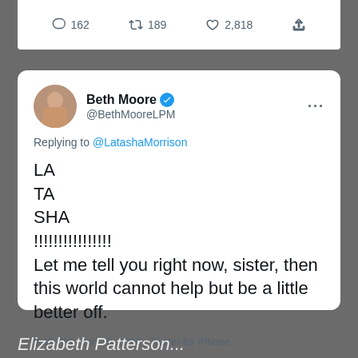[Figure (screenshot): Partial Twitter/X interface showing engagement stats: 162 replies, 189 retweets, 2,818 likes]
[Figure (screenshot): Tweet by Beth Moore (@BethMooreLPM) replying to @LatashaMorrison reading: LA TA SHA !!!!!!!!!!!!!!!! Let me tell you right now, sister, then this world cannot help but be a little better off. Posted 9:45 PM · Jun 10, 2020 · Twitter for iPhone]
Elizabeth Patterson...